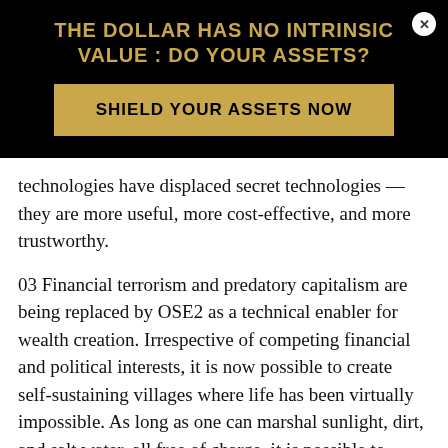THE DOLLAR HAS NO INTRINSIC VALUE : DO YOUR ASSETS?
SHIELD YOUR ASSETS NOW
technologies have displaced secret technologies — they are more useful, more cost-effective, and more trustworthy.
03 Financial terrorism and predatory capitalism are being replaced by OSE2 as a technical enabler for wealth creation. Irrespective of competing financial and political interests, it is now possible to create self-sustaining villages where life has been virtually impossible. As long as one can marshal sunlight, dirt, and salt water, all free of charge, it is possible to thrive with ample supplies of clean water and hydroponically-grown food, while achieving — at the village level — prosperity and peace.
We have come full circle, returning to the deep cultural